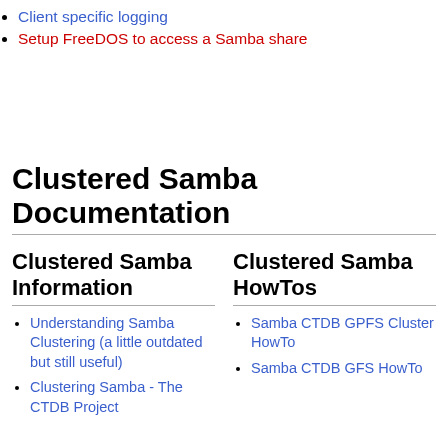Client specific logging
Setup FreeDOS to access a Samba share
Clustered Samba Documentation
Clustered Samba Information
Clustered Samba HowTos
Understanding Samba Clustering (a little outdated but still useful)
Clustering Samba - The CTDB Project
Samba CTDB GPFS Cluster HowTo
Samba CTDB GFS HowTo